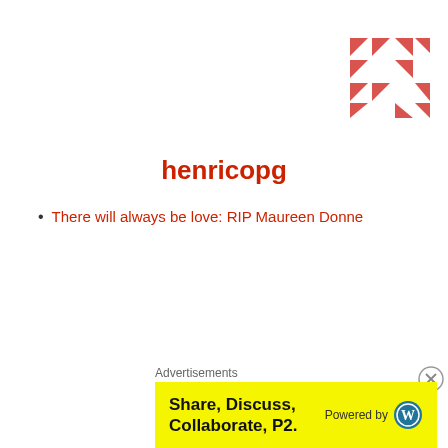[Figure (logo): Red arrow/chevron pattern logo in top-right corner]
henricopg
There will always be love: RIP Maureen Donne
[Figure (logo): Green cross with diamond accents logo in middle-right]
huibrechtdehart
Paul Eilers: Actor-whisperer, with a heart of gold
[Figure (logo): Gold snowflake/star pattern logo in bottom-right]
Advertisements
[Figure (infographic): Yellow advertisement banner: Share, Discuss, Collaborate, P2. Powered by WordPress logo]